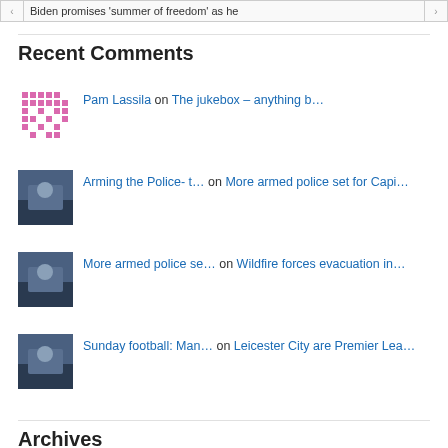Biden promises 'summer of freedom' as he...
Recent Comments
Pam Lassila on The jukebox – anything b...
Arming the Police- t... on More armed police set for Capi...
More armed police se... on Wildfire forces evacuation in...
Sunday football: Man... on Leicester City are Premier Lea...
dave94015 on Adela's Adventure of BDS...
Archives